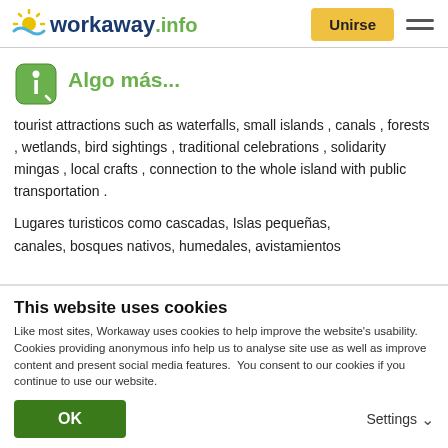workaway.info — Unirse
Algo más...
tourist attractions such as waterfalls, small islands , canals , forests , wetlands, bird sightings , traditional celebrations , solidarity mingas , local crafts , connection to the whole island with public transportation .
Lugares turisticos como cascadas, Islas pequeñas, canales, bosques nativos, humedales, avistamientos
This website uses cookies
Like most sites, Workaway uses cookies to help improve the website's usability. Cookies providing anonymous info help us to analyse site use as well as improve content and present social media features.  You consent to our cookies if you continue to use our website.
OK
Settings